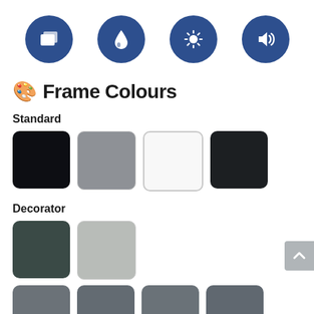[Figure (illustration): Four blue circular icons in a row: layers/pages icon, water drop icon, sun/brightness icon, speaker/volume icon]
🎨 Frame Colours
Standard
[Figure (illustration): Four colour swatches: black, grey, white, dark charcoal]
Decorator
[Figure (illustration): Two colour swatches: dark green/teal, light grey]
[Figure (illustration): Four partially visible colour swatches in slate grey tones at bottom edge]